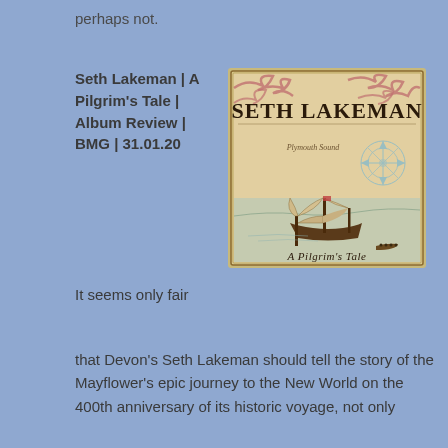perhaps not.
Seth Lakeman | A Pilgrim's Tale | Album Review | BMG | 31.01.20
[Figure (illustration): Album cover for Seth Lakeman 'A Pilgrim's Tale'. Features an old sailing ship (Mayflower) on calm water with a compass rose in the top right, decorative map-style borders and swirling clouds in pinkish-red. Text reads 'SETH LAKEMAN' in large bold letters at top, 'Plymouth Sound' in script in the middle, and 'A Pilgrim's Tale' in script at the bottom. Aged parchment background color.]
It seems only fair that Devon's Seth Lakeman should tell the story of the Mayflower's epic journey to the New World on the 400th anniversary of its historic voyage, not only